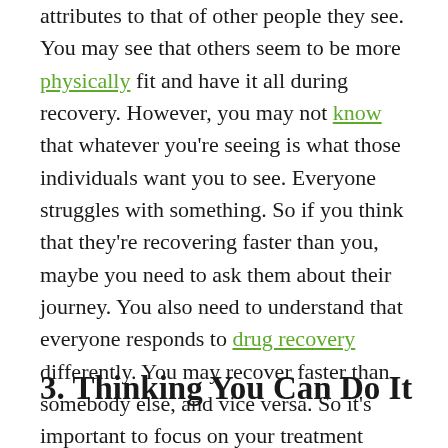attributes to that of other people they see. You may see that others seem to be more physically fit and have it all during recovery. However, you may not know that whatever you're seeing is what those individuals want you to see. Everyone struggles with something. So if you think that they're recovering faster than you, maybe you need to ask them about their journey. You also need to understand that everyone responds to drug recovery differently. You may recover faster than somebody else, and vice versa. So it's important to focus on your treatment programs rather than comparing yourself to others.
3. Thinking You Can Do It